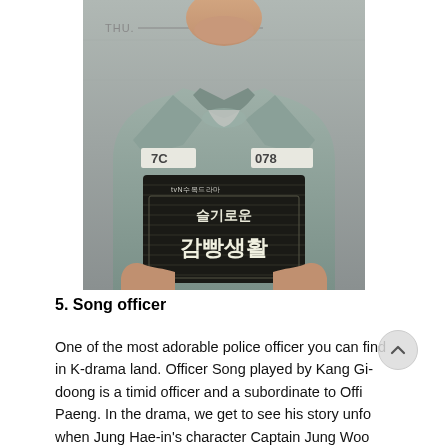[Figure (photo): Promotional poster for the Korean drama '슬기로운 감빵생활' (Prison Playbook), showing a man in a gray prison uniform holding a dark sign board with the show's title in Korean. The uniform has number badges '7C' and '078' on the chest.]
5. Song officer
One of the most adorable police officer you can find in K-drama land. Officer Song played by Kang Gi-doong is a timid officer and a subordinate to Offi Paeng. In the drama, we get to see his story unfo when Jung Hae-in's character Captain Jung Woo came into the picture saving him from a fatal casualty. He